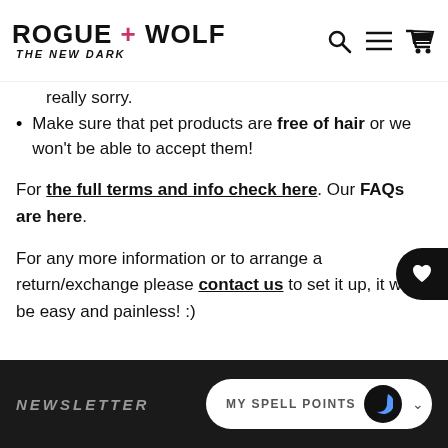[Figure (logo): Rogue + Wolf logo with tagline 'The New Dark' and navigation icons (search, menu, cart)]
really sorry.
Make sure that pet products are free of hair or we won't be able to accept them!
For the full terms and info check here. Our FAQs are here.
For any more information or to arrange a return/exchange please contact us to set it up, it will be easy and painless! :)
NEWSLETTER   MY SPELL POINTS